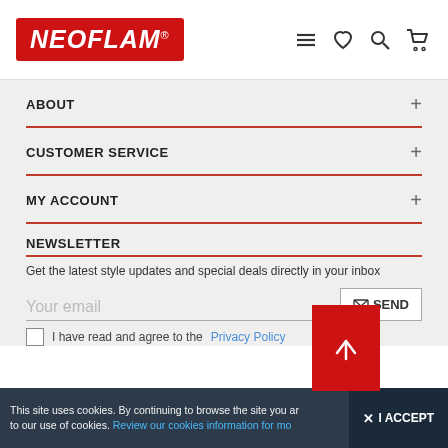[Figure (logo): Neoflam logo — white italic bold text on red background rectangle]
[Figure (infographic): Navigation icons: hamburger menu, heart/wishlist, search magnifier, shopping cart]
ABOUT
CUSTOMER SERVICE
MY ACCOUNT
NEWSLETTER
Get the latest style updates and special deals directly in your inbox
Your email
SEND
I have read and agree to the Privacy Policy
This site uses cookies. By continuing to browse the site you are agreeing to our use of cookies. Review our cookies information for mo